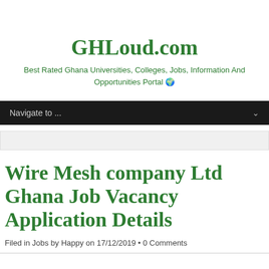GHLoud.com
Best Rated Ghana Universities, Colleges, Jobs, Information And Opportunities Portal 🌍
Navigate to ...
Wire Mesh company Ltd Ghana Job Vacancy Application Details
Filed in Jobs by Happy on 17/12/2019 • 0 Comments